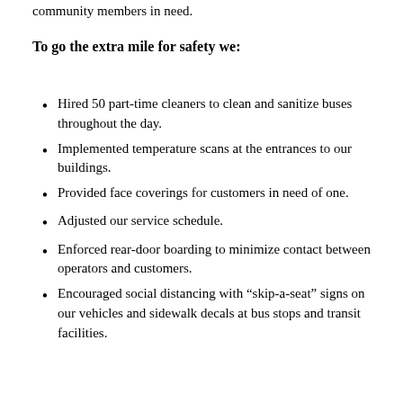community members in need.
To go the extra mile for safety we:
Hired 50 part-time cleaners to clean and sanitize buses throughout the day.
Implemented temperature scans at the entrances to our buildings.
Provided face coverings for customers in need of one.
Adjusted our service schedule.
Enforced rear-door boarding to minimize contact between operators and customers.
Encouraged social distancing with “skip-a-seat” signs on our vehicles and sidewalk decals at bus stops and transit facilities.